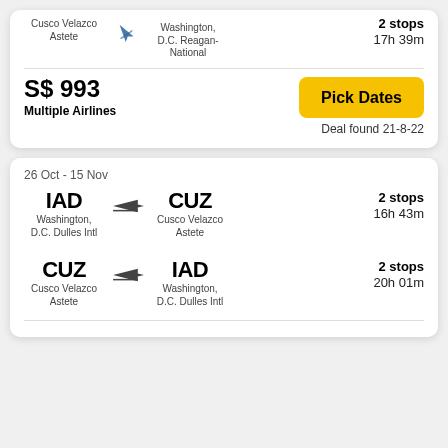CUZ → DCA / Cusco Velazco Astete → Washington, D.C. Reagan-National
2 stops
17h 39m
S$ 993
Multiple Airlines
Pick Dates
Deal found 21-8-22
26 Oct - 15 Nov
IAD → CUZ / Washington, D.C. Dulles Intl → Cusco Velazco Astete
2 stops
16h 43m
CUZ → IAD / Cusco Velazco Astete → Washington, D.C. Dulles Intl
2 stops
20h 01m